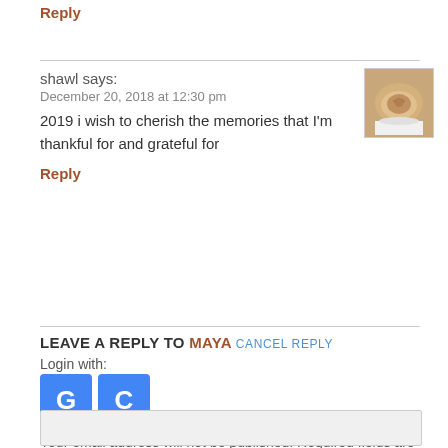Reply
shawl says:
December 20, 2018 at 12:30 pm
2019 i wish to cherish the memories that I'm thankful for and grateful for
Reply
LEAVE A REPLY TO MAYA CANCEL REPLY
Login with:
[Figure (other): Login buttons: G (Google) and C (another service), both blue square buttons]
Your email address will not be published. Required fields are marked *
(empty textarea/comment box)